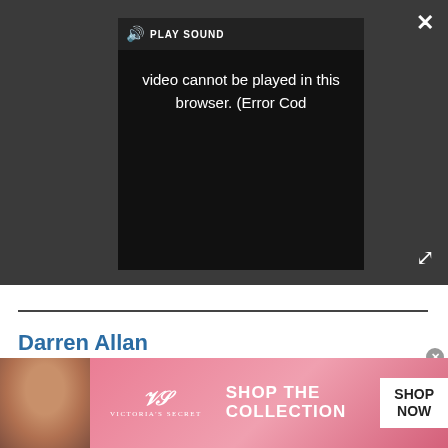[Figure (screenshot): Video player with dark background showing error message: video cannot be played in this browser. (Error Cod). Controls bar at top with speaker icon and PLAY SOUND label. Close X button top right, expand icon bottom right.]
Darren Allan
Darren is a freelancer writing news and features for TechRadar (and occasionally T3) across a broad range of computing topics including CPUs, GPUs, various other hardware, VPNs, antivirus
[Figure (other): Victoria's Secret advertisement banner with pink gradient background, woman photo, VS logo, SHOP THE COLLECTION text, and SHOP NOW button]